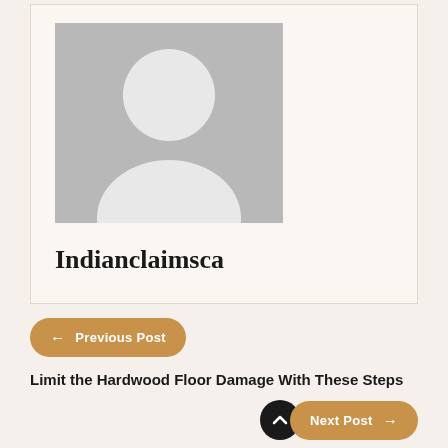[Figure (photo): Gray placeholder avatar image showing a generic person silhouette (head and shoulders) on a gray background]
Indianclaimsca
← Previous Post
Limit the Hardwood Floor Damage With These Steps
Next Post →